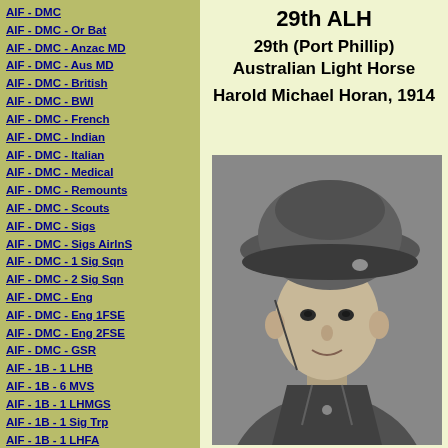AIF - DMC
AIF - DMC - Or Bat
AIF - DMC - Anzac MD
AIF - DMC - Aus MD
AIF - DMC - British
AIF - DMC - BWI
AIF - DMC - French
AIF - DMC - Indian
AIF - DMC - Italian
AIF - DMC - Medical
AIF - DMC - Remounts
AIF - DMC - Scouts
AIF - DMC - Sigs
AIF - DMC - Sigs AirlnS
AIF - DMC - 1 Sig Sqn
AIF - DMC - 2 Sig Sqn
AIF - DMC - Eng
AIF - DMC - Eng 1FSE
AIF - DMC - Eng 2FSE
AIF - DMC - GSR
AIF - 1B - 1 LHB
AIF - 1B - 6 MVS
AIF - 1B - 1 LHMGS
AIF - 1B - 1 Sig Trp
AIF - 1B - 1 LHFA
AIF - 1B - 1 LHR
AIF - 1B - 2 LHR
AIF - 1B - 3 LHR
29th ALH
29th (Port Phillip) Australian Light Horse
Harold Michael Horan, 1914
[Figure (photo): Black and white portrait photograph of Harold Michael Horan in military uniform wearing a wide-brimmed hat, 1914]